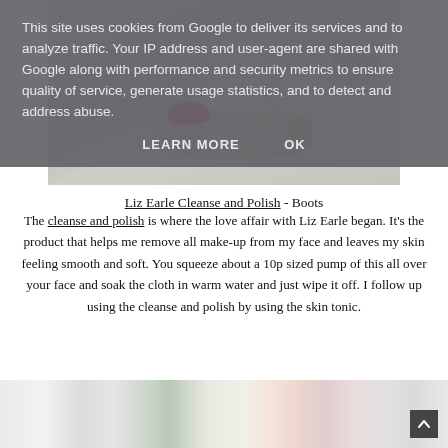[Figure (photo): A hand holding a skincare product bottle (Liz Earle Cleanse and Polish) with red nail polish, on a marble surface with other skincare products in background]
This site uses cookies from Google to deliver its services and to analyze traffic. Your IP address and user-agent are shared with Google along with performance and security metrics to ensure quality of service, generate usage statistics, and to detect and address abuse.
LEARN MORE   OK
Liz Earle Cleanse and Polish - Boots
The cleanse and polish is where the love affair with Liz Earle began. It's the product that helps me remove all make-up from my face and leaves my skin feeling smooth and soft. You squeeze about a 10p sized pump of this all over your face and soak the cloth in warm water and just wipe it off. I follow up using the cleanse and polish by using the skin tonic.
[Figure (photo): Bottom portion of page showing skincare product bottles and tubes on a white background]